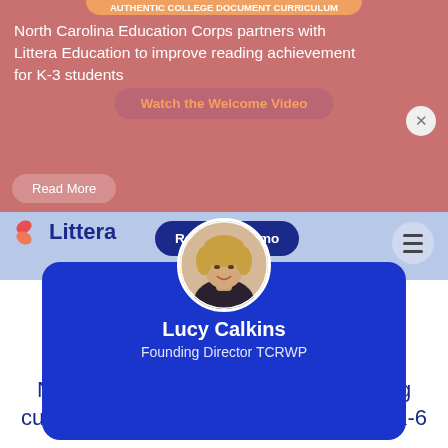North Carolina Education Corps partners with Littera Education to improve reading achievement for K-3 students
Watch the Welcome Video
Read More
[Figure (logo): Littera logo with stylized ribbon icon and text 'Littera']
Request a demo
[Figure (photo): Circular profile photo of Lucy Calkins, a woman with short blonde hair smiling, wearing a dark top]
Lucy Calkins
Founding Director TCRWP
Newly developed high-dosage tutoring curriculum for accelerating literacy for K-6